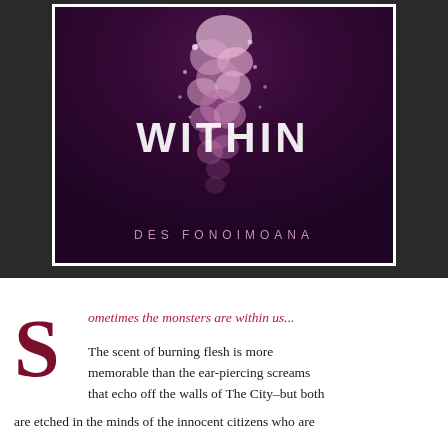[Figure (illustration): Book cover for 'Within' by Des Fonoimoana. Dark purple/maroon background with stone wall texture. A cascade of pink and white flowers and light particles flows from the top center downward like an inverted tree or fountain. The word 'WITHIN' appears in large white distressed text on the right side. Below the image, 'DES FONOIMOANA' appears in spaced pink/mauve capital letters.]
Sometimes the monsters are within us... The scent of burning flesh is more memorable than the ear-piercing screams that echo off the walls of The City–but both are etched in the minds of the innocent citizens who are